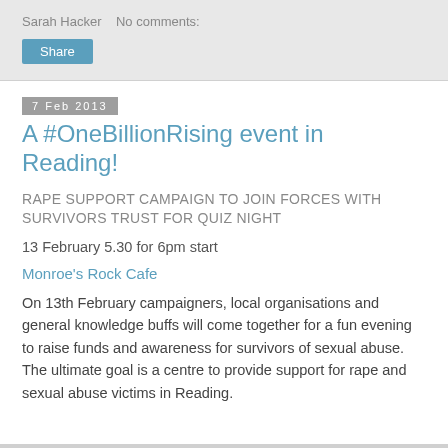Sarah Hacker   No comments:
Share
7 Feb 2013
A #OneBillionRising event in Reading!
RAPE SUPPORT CAMPAIGN TO JOIN FORCES WITH SURVIVORS TRUST FOR QUIZ NIGHT
13 February 5.30 for 6pm start
Monroe's Rock Cafe
On 13th February campaigners, local organisations and general knowledge buffs will come together for a fun evening to raise funds and awareness for survivors of sexual abuse. The ultimate goal is a centre to provide support for rape and sexual abuse victims in Reading.